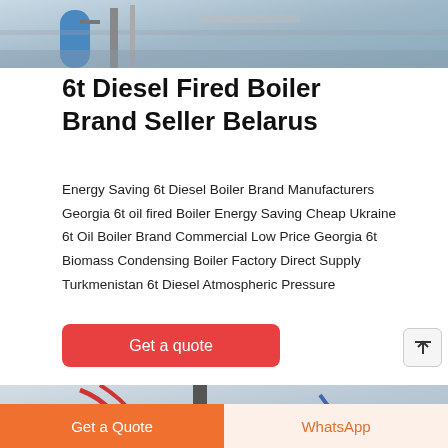[Figure (photo): Industrial boiler equipment photo, top portion visible, showing blue cylinder and metal framing in a factory/industrial setting]
6t Diesel Fired Boiler Brand Seller Belarus
Energy Saving 6t Diesel Boiler Brand Manufacturers Georgia 6t oil fired Boiler Energy Saving Cheap Ukraine 6t Oil Boiler Brand Commercial Low Price Georgia 6t Biomass Condensing Boiler Factory Direct Supply Turkmenistan 6t Diesel Atmospheric Pressure
[Figure (other): Red button labeled 'Get a quote']
[Figure (photo): Industrial boiler system photo, bottom portion, showing pipes and equipment in an industrial setting]
Get a Quote
WhatsApp